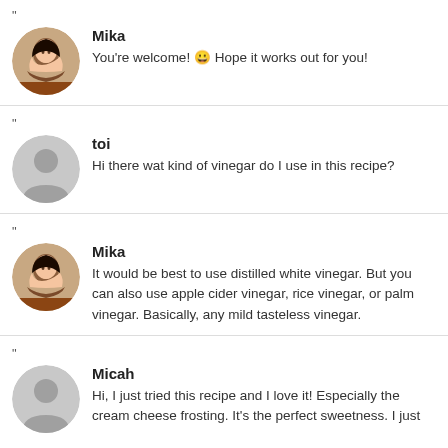Mika: You're welcome! 😀 Hope it works out for you!
toi: Hi there wat kind of vinegar do I use in this recipe?
Mika: It would be best to use distilled white vinegar. But you can also use apple cider vinegar, rice vinegar, or palm vinegar. Basically, any mild tasteless vinegar.
Micah: Hi, I just tried this recipe and I love it! Especially the cream cheese frosting. It's the perfect sweetness. I just want to ask if it's made by the oven or foil? The i...